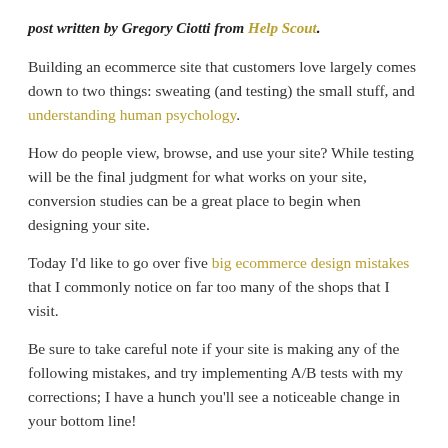post written by Gregory Ciotti from Help Scout.
Building an ecommerce site that customers love largely comes down to two things: sweating (and testing) the small stuff, and understanding human psychology.
How do people view, browse, and use your site? While testing will be the final judgment for what works on your site, conversion studies can be a great place to begin when designing your site.
Today I'd like to go over five big ecommerce design mistakes that I commonly notice on far too many of the shops that I visit.
Be sure to take careful note if your site is making any of the following mistakes, and try implementing A/B tests with my corrections; I have a hunch you'll see a noticeable change in your bottom line!
1. Lack of a Clear Value Proposition